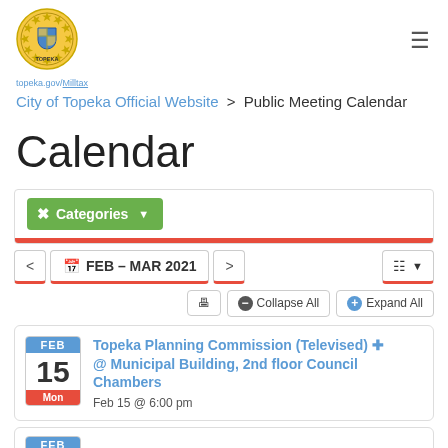[Figure (logo): City of Topeka official seal logo, circular gold and blue design]
topeka.gov/Milltax
City of Topeka Official Website > Public Meeting Calendar
Calendar
❌ Categories ▾
< FEB – MAR 2021 >
🖨 Collapse All + Expand All
Topeka Planning Commission (Televised) @ Municipal Building, 2nd floor Council Chambers
Feb 15 @ 6:00 pm